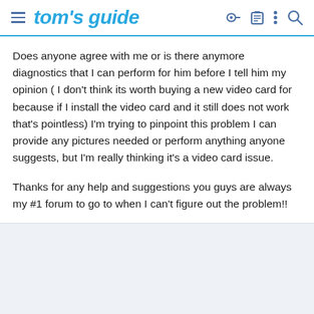tom's guide
Does anyone agree with me or is there anymore diagnostics that I can perform for him before I tell him my opinion ( I don't think its worth buying a new video card for because if I install the video card and it still does not work that's pointless) I'm trying to pinpoint this problem I can provide any pictures needed or perform anything anyone suggests, but I'm really thinking it's a video card issue.
Thanks for any help and suggestions you guys are always my #1 forum to go to when I can't figure out the problem!!